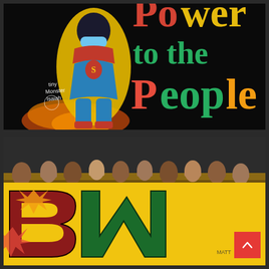[Figure (photo): Street mural showing a Black woman in a superhero costume wearing a face mask, with colorful graffiti text reading 'Power to the People' in red, yellow, and green colors. Tag reads 'Tiny Monster Isaiah' in white graffiti. Black background.]
[Figure (photo): Street mural showing the letters 'BLM' in large graffiti-style lettering in red, green, and yellow on a yellow background. Above the letters are silhouettes of diverse people in brown/tan tones. A red scroll-to-top button with a caret/arrow icon is visible in the bottom right corner.]